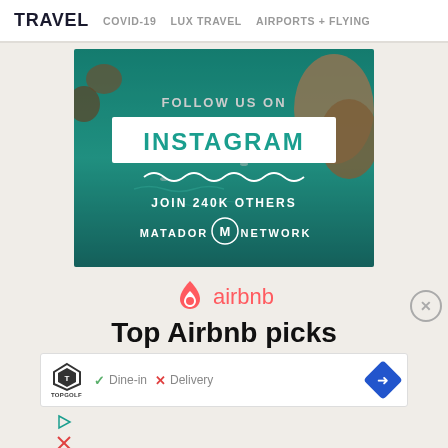TRAVEL   COVID-19   LUX TRAVEL   AIRPORTS + FLYING
[Figure (photo): Aerial turquoise water with rocks and paddle boarders. Overlay text: FOLLOW US ON INSTAGRAM JOIN 240K OTHERS MATADOR (M) NETWORK]
[Figure (logo): Airbnb logo with flame icon in salmon/coral color and text 'airbnb']
Top Airbnb picks
[Figure (screenshot): Advertisement bar: Topgolf logo, checkmark Dine-in, X Delivery, blue diamond arrow button]
[Figure (screenshot): Small play and X icon buttons at bottom left]